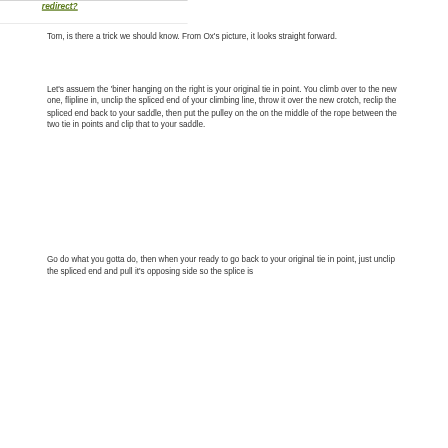redirect?
Tom, is there a trick we should know. From Ox&#039;s picture, it looks straight forward.
Let&#039;s assuem the &#039;biner hanging on the right is your original tie in point. You climb over to the new one, flipline in, unclip the spliced end of your climbing line, throw it over the new crotch, reclip the spliced end back to your saddle, then put the pulley on the on the middle of the rope between the two tie in points and clip that to your saddle.
Go do what you gotta do, then when your ready to go back to your original tie in point, just unclip the spliced end and pull it&#039;s opposing side so the splice is